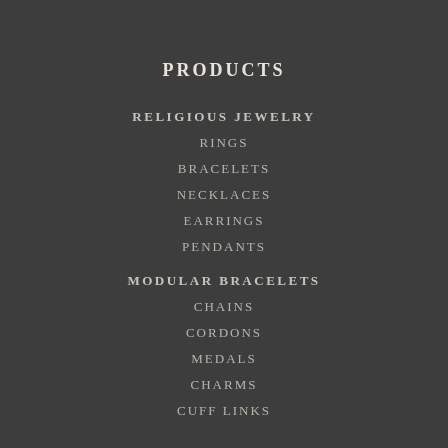PRODUCTS
RELIGIOUS JEWELRY
RINGS
BRACELETS
NECKLACES
EARRINGS
PENDANTS
MODULAR BRACELETS
CHAINS
CORDONS
MEDALS
CHARMS
CUFF LINKS